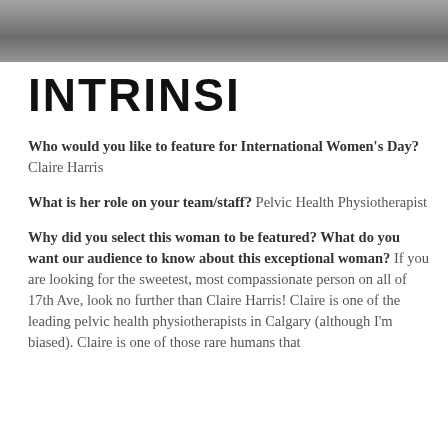[Figure (photo): Partial photo banner at top of page, showing a person in white/light clothing, cropped close]
INTRINSI
Who would you like to feature for International Women's Day? Claire Harris
What is her role on your team/staff? Pelvic Health Physiotherapist
Why did you select this woman to be featured? What do you want our audience to know about this exceptional woman? If you are looking for the sweetest, most compassionate person on all of 17th Ave, look no further than Claire Harris! Claire is one of the leading pelvic health physiotherapists in Calgary (although I'm biased). Claire is one of those rare humans that